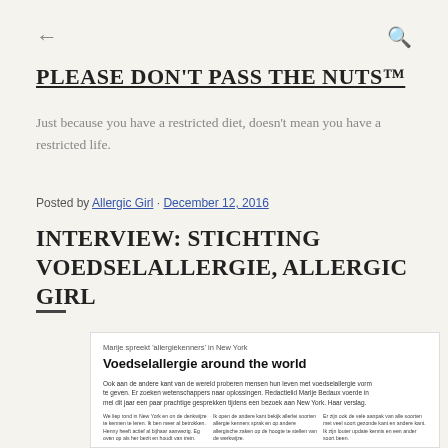← [back] [search]
PLEASE DON'T PASS THE NUTS™
Just because you have a restricted diet, doesn't mean you have a restricted life.
Posted by Allergic Girl · December 12, 2016
INTERVIEW: STICHTING VOEDSELALLERGIE, ALLERGIC GIRL
[Figure (screenshot): Screenshot of a Dutch magazine article titled 'Voedselallergie around the world' with subtitle 'Marije spreekt allergiekenners in New York' and body text in Dutch, showing multi-column layout.]